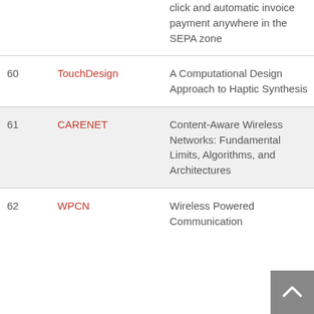| # | Name | Description | Year |
| --- | --- | --- | --- |
|  |  | click and automatic invoice payment anywhere in the SEPA zone |  |
| 60 | TouchDesign | A Computational Design Approach to Haptic Synthesis | 2018 |
| 61 | CARENET | Content-Aware Wireless Networks: Fundamental Limits, Algorithms, and Architectures | 2018 |
| 62 | WPCN | Wireless Powered Communication | 2019 |